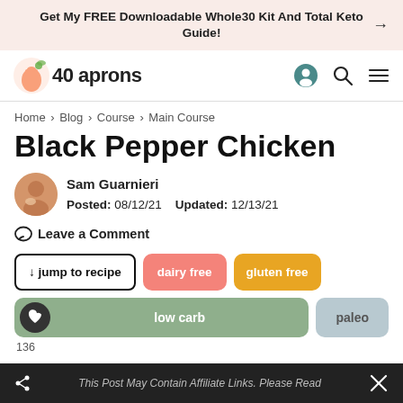Get My FREE Downloadable Whole30 Kit And Total Keto Guide!
[Figure (logo): 40 aprons logo with apron icon]
Home > Blog > Course > Main Course
Black Pepper Chicken
Sam Guarnieri
Posted: 08/12/21   Updated: 12/13/21
Leave a Comment
↓ jump to recipe
dairy free
gluten free
low carb
paleo
136
This Post May Contain Affiliate Links. Please Read